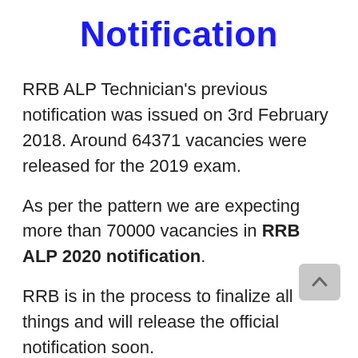Notification
RRB ALP Technician’s previous notification was issued on 3rd February 2018. Around 64371 vacancies were released for the 2019 exam.
As per the pattern we are expecting more than 70000 vacancies in RRB ALP 2020 notification.
RRB is in the process to finalize all things and will release the official notification soon.
Check all latest Sarkari Exams 2020 in India at